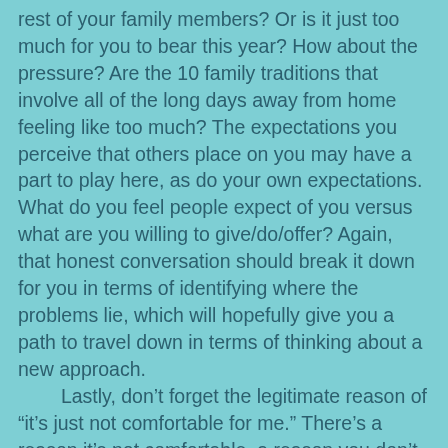rest of your family members? Or is it just too much for you to bear this year? How about the pressure? Are the 10 family traditions that involve all of the long days away from home feeling like too much? The expectations you perceive that others place on you may have a part to play here, as do your own expectations. What do you feel people expect of you versus what are you willing to give/do/offer? Again, that honest conversation should break it down for you in terms of identifying where the problems lie, which will hopefully give you a path to travel down in terms of thinking about a new approach.
    Lastly, don't forget the legitimate reason of “it’s just not comfortable for me.” There’s a reason it’s not comfortable, a reason you don’t want to relive it, and if you’re looking for a justifiable reason to change things, look no further. Harness the feeling you have and try to see it in all of it’s different dimensions to gain an understanding of it. By looking into yourself and your personality traits, you may just find that the change you’re looking for this season doesn’t have to be justified by anyone else but you. Before the holiday season begins to buzz too loudly, take some time now to imagine what yours will look like as you envision a happier, healthier